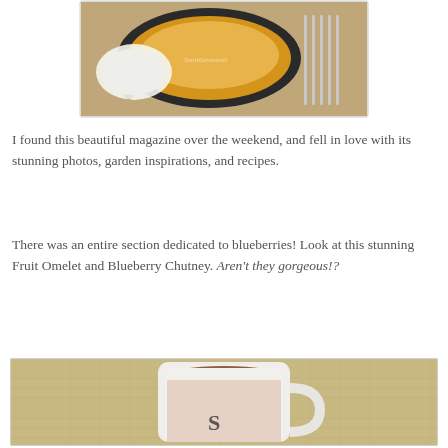[Figure (photo): A fruit omelet and blueberry chutney dish in a baking pan with silverware, displayed on a magazine page. White dessert plate visible alongside.]
I found this beautiful magazine over the weekend, and fell in love with its stunning photos, garden inspirations, and recipes.
There was an entire section dedicated to blueberries! Look at this stunning Fruit Omelet and Blueberry Chutney. Aren't they gorgeous!?
[Figure (photo): A white ceramic mug filled with coffee or tea with cream, sitting on a burlap textured surface. The mug has a decorative letter or logo on it.]